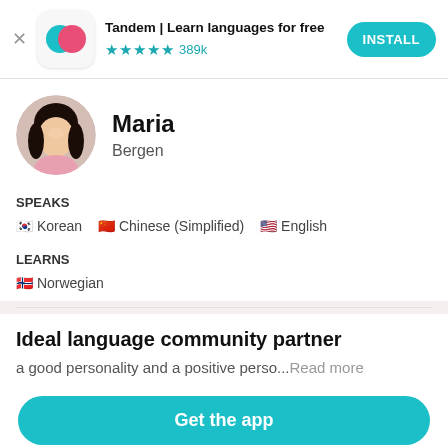[Figure (screenshot): Tandem app advertisement banner with logo icon, star rating 389k, and INSTALL button]
[Figure (photo): Profile photo of Maria, a woman with dark hair, circular crop]
Maria
Bergen
SPEAKS
Korean  Chinese (Simplified)  English
LEARNS
Norwegian
Ideal language community partner
a good personality and a positive perso...Read more
Get the app